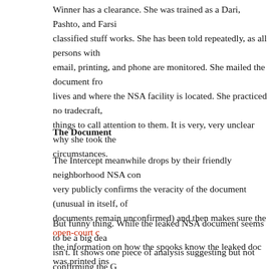Winner has a clearance. She was trained as a Dari, Pashto, and Farsi classified stuff works. She has been told repeatedly, as all persons with email, printing, and phone are monitored. She mailed the document fro lives and where the NSA facility is located. She practiced no tradecraft, things to call attention to them. It is very, very unclear why she took the circumstances.
The Document
The Intercept meanwhile drops by their friendly neighborhood NSA con very publicly confirms the veracity of the document (unusual in itself, of documents remain unconfirmed) and then makes sure the open-court c the information on how the spooks know the leaked doc was printed ins make a full confession to the FBI. The upshot? This document is not a p know it is real. The Russians certainly are messing with our election.
But funny thing. While the leaked NSA document seems to be a big dea isn't. It shows one piece of analysis suggesting but not confirming the G steal some credentials and gain access to a private company. No U.S. intel, are revealed, the crown jewel stuff. There is no evidence the hack anything nefarious. The hack took place months ago and ran its course already dead. The Russians were running a run-of-the-mill spearfishin